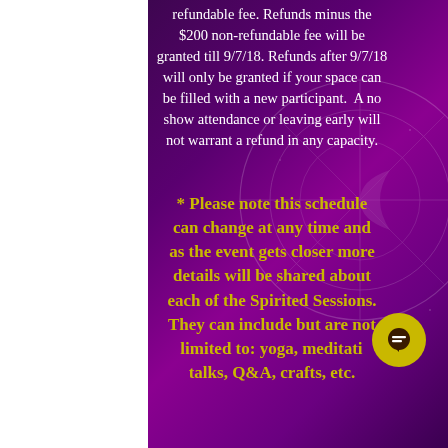refundable fee. Refunds minus the $200 non-refundable fee will be granted till 9/7/18. Refunds after 9/7/18 will only be granted if your space can be filled with a new participant.  A no show attendance or leaving early will not warrant a refund in any capacity.
* Please note this schedule can change at any time and as the event gets closer more details will be shared about each of the Spirited Sessions. They can include but are not limited to: yoga, meditation, talks, Q&A, crafts, etc.